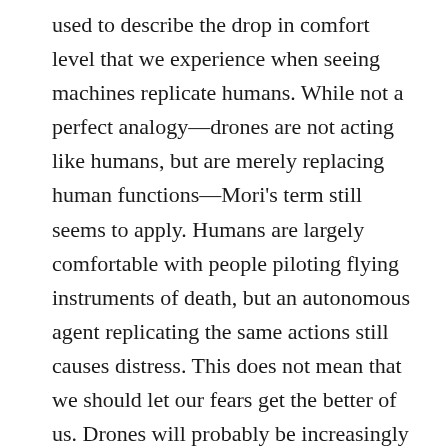used to describe the drop in comfort level that we experience when seeing machines replicate humans. While not a perfect analogy—drones are not acting like humans, but are merely replacing human functions—Mori's term still seems to apply. Humans are largely comfortable with people piloting flying instruments of death, but an autonomous agent replicating the same actions still causes distress. This does not mean that we should let our fears get the better of us. Drones will probably be increasingly used in domestic contents, and they will likely have very positive utility. What would have really been something to cheer about was if Paul's 13-hour filibuster targeted something that may truly be a breach of the President's powers—the President's endorsement of the increased use of